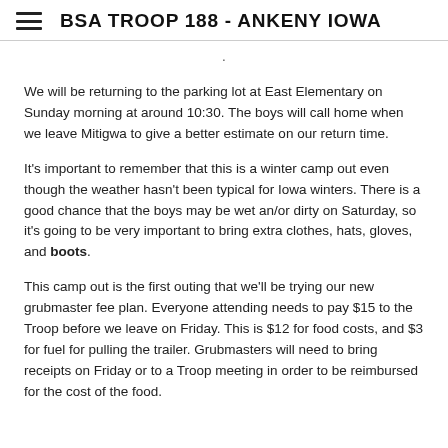BSA TROOP 188 - ANKENY IOWA
We will be returning to the parking lot at East Elementary on Sunday morning at around 10:30.  The boys will call home when we leave Mitigwa to give a better estimate on our return time.
It's important to remember that this is a winter camp out even though the weather hasn't been typical for Iowa winters.  There is a good chance that the boys may be wet an/or dirty on Saturday, so it's going to be very important to bring extra clothes, hats, gloves, and boots.
This camp out is the first outing that we'll be trying our new grubmaster fee plan.  Everyone attending needs to pay $15 to the Troop before we leave on Friday.  This is $12 for food costs, and $3 for fuel for pulling the trailer.  Grubmasters will need to bring receipts on Friday or to a Troop meeting in order to be reimbursed for the cost of the food.